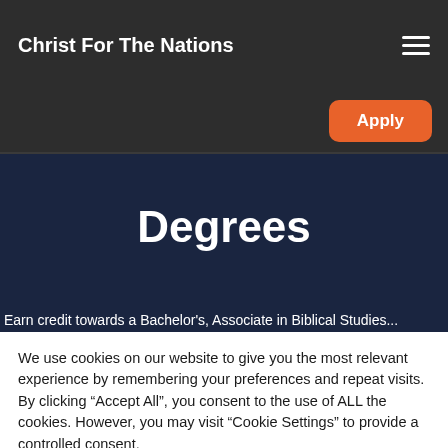Christ For The Nations
Degrees
Earn credit towards a Bachelor's, Associate in Biblical Studies...
We use cookies on our website to give you the most relevant experience by remembering your preferences and repeat visits. By clicking "Accept All", you consent to the use of ALL the cookies. However, you may visit "Cookie Settings" to provide a controlled consent.
Cookie Settings
Accept All